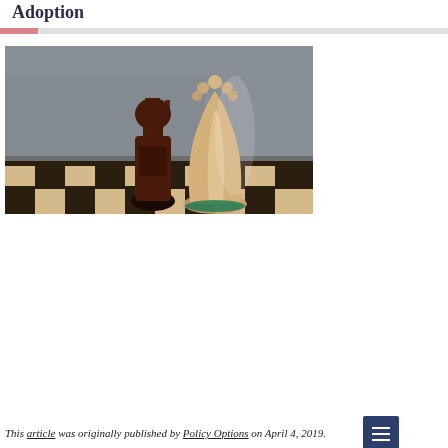Adoption
[Figure (photo): Two chess pieces — a dark wooden king and a light wooden queen — standing on a chessboard. Close-up photograph with shallow depth of field, gray background.]
This article was originally published by Policy Options on April 4, 2019.